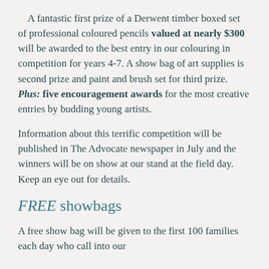A fantastic first prize of a Derwent timber boxed set of professional coloured pencils valued at nearly $300 will be awarded to the best entry in our colouring in competition for years 4-7. A show bag of art supplies is second prize and paint and brush set for third prize. Plus: five encouragement awards for the most creative entries by budding young artists.
Information about this terrific competition will be published in The Advocate newspaper in July and the winners will be on show at our stand at the field day. Keep an eye out for details.
FREE showbags
A free show bag will be given to the first 100 families each day who call into our